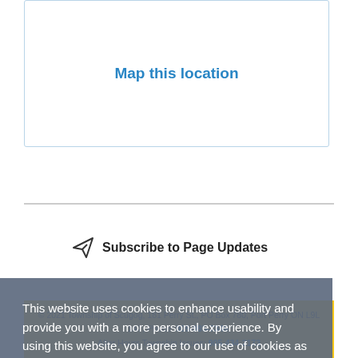Map this location
Subscribe to Page Updates
This website uses cookies to enhance usability and provide you with a more personal experience. By using this website, you agree to our use of cookies as explained in our Privacy Policy.
Agree
© 2021 Township of Scugog, 181 Perry St., PO Box 780, Port Perry ON L9L 1A7, Phone: 905-985-7346, After Hours Township Issues: 905-434-2173